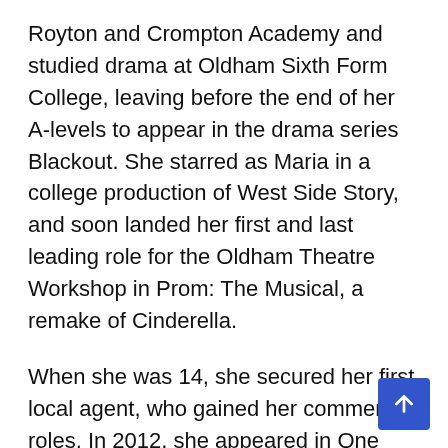Royton and Crompton Academy and studied drama at Oldham Sixth Form College, leaving before the end of her A-levels to appear in the drama series Blackout. She starred as Maria in a college production of West Side Story, and soon landed her first and last leading role for the Oldham Theatre Workshop in Prom: The Musical, a remake of Cinderella.
When she was 14, she secured her first local agent, who gained her commercial roles. In 2012, she appeared in One Direction's “Autumn Term” tour video as a student getting a piggyback ride from Harry Styles.
Although her agent discouraged her from enrolling in